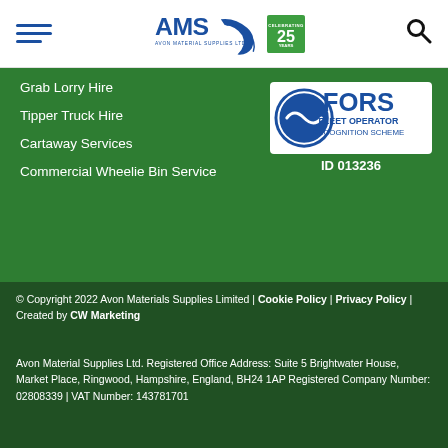AMS Avon Material Supplies Ltd — 25 Years
Grab Lorry Hire
Tipper Truck Hire
Cartaway Services
Commercial Wheelie Bin Service
[Figure (logo): FORS Fleet Operator Recognition Scheme logo badge, ID 013236]
© Copyright 2022 Avon Materials Supplies Limited | Cookie Policy | Privacy Policy | Created by CW Marketing
Avon Material Supplies Ltd. Registered Office Address: Suite 5 Brightwater House, Market Place, Ringwood, Hampshire, England, BH24 1AP Registered Company Number: 02808339 | VAT Number: 143781701